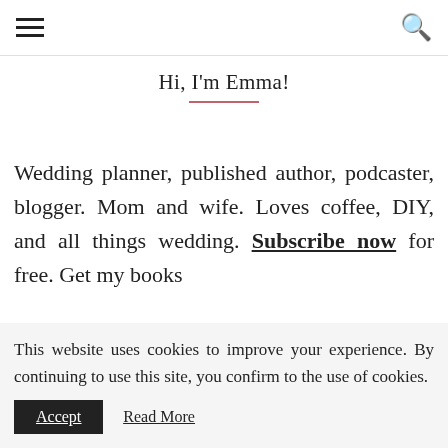≡ [hamburger menu] [search icon]
Hi, I'm Emma!
Wedding planner, published author, podcaster, blogger. Mom and wife. Loves coffee, DIY, and all things wedding. Subscribe now for free. Get my books
This website uses cookies to improve your experience. By continuing to use this site, you confirm to the use of cookies.
Accept   Read More